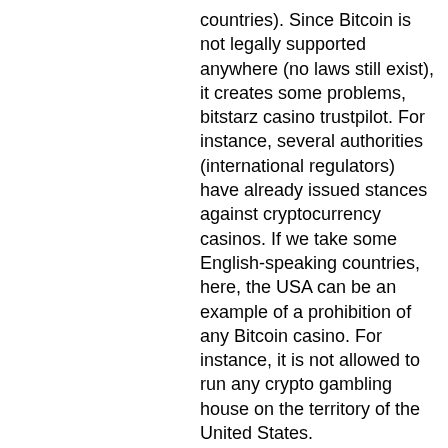countries). Since Bitcoin is not legally supported anywhere (no laws still exist), it creates some problems, bitstarz casino trustpilot. For instance, several authorities (international regulators) have already issued stances against cryptocurrency casinos. If we take some English-speaking countries, here, the USA can be an example of a prohibition of any Bitcoin casino. For instance, it is not allowed to run any crypto gambling house on the territory of the United States.
To start gambling using you need to: Get a Bitcoin wallet, bitstarz casino trustpilot.
In this article, I will cover: The 7 best Bitcoin casino sites, reviews, and comparisons 6 factors to consider when choosing your best online crypto casino 7 benefits and drawbacks of Bitcoin casino sites vs. Top crypto casinos will entertain your nights, while others may become your worst